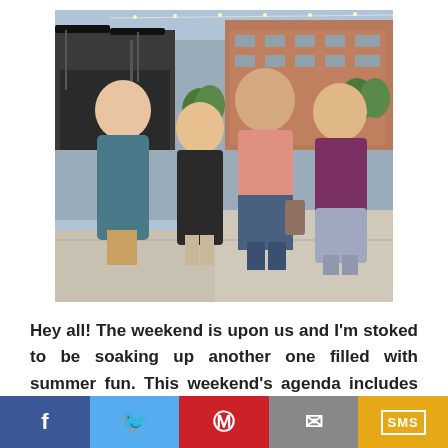[Figure (photo): Four young women posing together outdoors on a city street or plaza, with a restaurant patio and brick buildings visible in the background. From left to right: a woman in a blue patterned dress, a shorter woman in a black top, a taller woman in a pink top, and a woman in a purple top.]
Hey all! The weekend is upon us and I'm stoked to be soaking up another one filled with summer fun. This weekend's agenda includes an Alabama concert tonight at